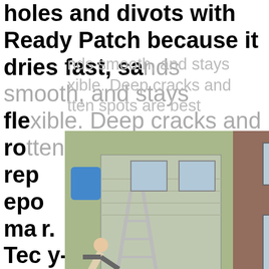holes and divots with Ready Patch because it dries fast, sands smooth, and stays flexible. Deep cracks and rotten spots are best replaced with epoxy, manufacturers say. Techniques vary by-step (see Repairing Rot with Epoxy.) The days of using polyester auto-body fillers on wood
[Figure (photo): Three photos showing people doing dangerous ladder/parkour stunts near houses]
sands smooth, and stays flexible. Deep cracks and rotten spots are best